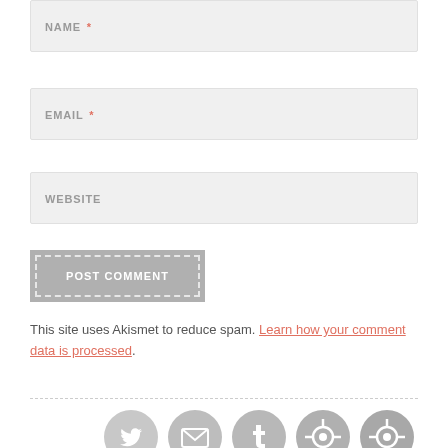NAME *
EMAIL *
WEBSITE
POST COMMENT
This site uses Akismet to reduce spam. Learn how your comment data is processed.
[Figure (illustration): Five circular social media icon buttons in gray: Twitter, Email, Tumblr, and two share/sync icons]